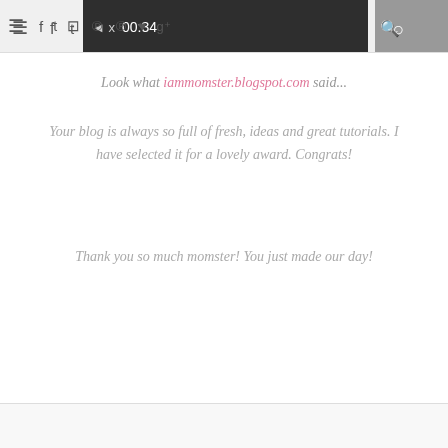[Figure (screenshot): Mobile browser navigation bar with hamburger menu, social media icons (Facebook, Twitter, Instagram, Pinterest x2, heart, Google+), search icon, and a video player showing 00:34 timestamp with mute icon]
Look what iammomster.blogspot.com said...
Your blog is always so full of fresh, ideas and great tutorials. I have selected it for a lovely award. Congrats!
Thank you so much momster! You just made our day!